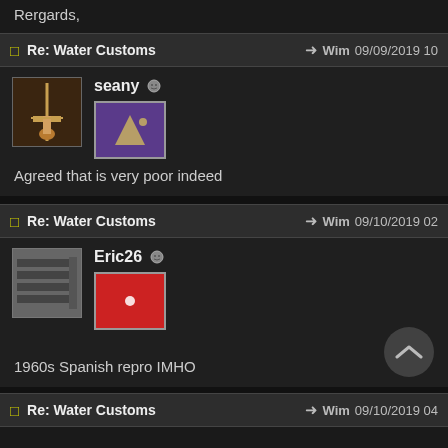Rergards,
Re: Water Customs — Wim 09/09/2019 10
seany
Agreed that is very poor indeed
Re: Water Customs — Wim 09/10/2019 02
Eric26
1960s Spanish repro IMHO
Re: Water Customs — Wim 09/10/2019 04